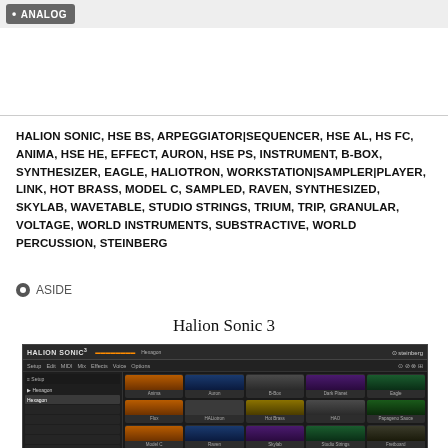ANALOG
HALION SONIC, HSE BS, ARPEGGIATOR|SEQUENCER, HSE AL, HS FC, ANIMA, HSE HE, EFFECT, AURON, HSE PS, INSTRUMENT, B-BOX, SYNTHESIZER, EAGLE, HALIOTRON, WORKSTATION|SAMPLER|PLAYER, LINK, HOT BRASS, MODEL C, SAMPLED, RAVEN, SYNTHESIZED, SKYLAB, WAVETABLE, STUDIO STRINGS, TRIUM, TRIP, GRANULAR, VOLTAGE, WORLD INSTRUMENTS, SUBSTRACTIVE, WORLD PERCUSSION, STEINBERG
ASIDE
Halion Sonic 3
[Figure (screenshot): Screenshot of Halion Sonic 3 software interface showing a dark-themed VST instrument with preset browser on the left and instrument module grid on the right featuring modules like Anima, Auron, B-Box, Dark Planet, Eagle, Flux, HALiotron, Hot Brass, HAO, Papageno Sauce, Model C, Raven, Skylab, Studio Strings, Fretboard]